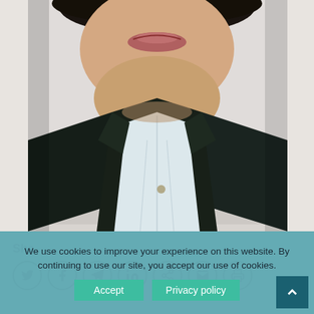[Figure (photo): Close-up portrait photo of a person wearing a dark blazer and light blouse/shirt, with the face partially cropped showing the lower face, neck and chest area. White/light grey background.]
We use cookies to improve your experience on this website. By continuing to use our site, you accept our use of cookies.
Accept   Privacy policy